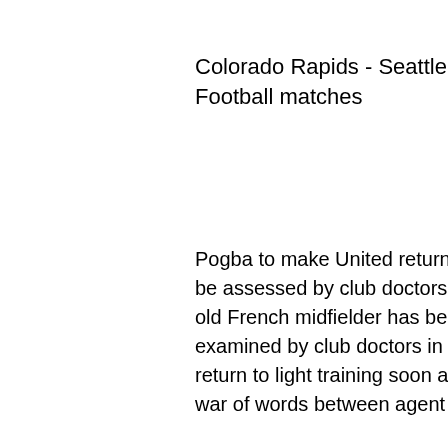Colorado Rapids - Seattle Sounders h2h - Football matches
Pogba to make United return Paul Pogba is due back at Manchester United to be assessed by club doctors, according to the Sun newspaper. The 26-year-old French midfielder has been out of action after surgery, but is set to be examined by club doctors in order to assess his progress. If he is fit, he could return to light training soon and be in contention to play in March, despite the war of words between agent Mino Raiola and manager Ole Gunnar
Colorado Rapids vs Seattle Sounders FC - May 22, 2022 - Live Streaming and TV Listings, Live Scores, News and Videos ::